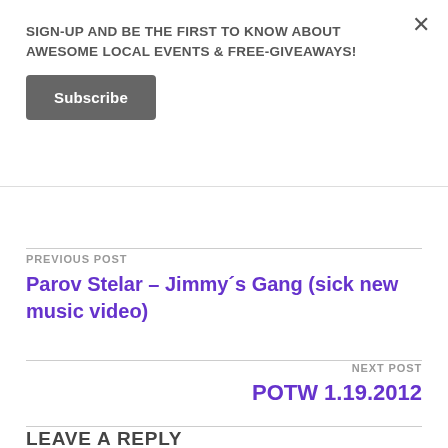SIGN-UP AND BE THE FIRST TO KNOW ABOUT AWESOME LOCAL EVENTS & FREE-GIVEAWAYS!
Subscribe
PREVIOUS POST
Parov Stelar – Jimmy´s Gang (sick new music video)
NEXT POST
POTW 1.19.2012
LEAVE A REPLY